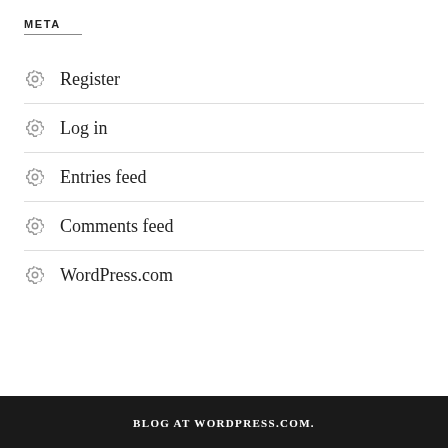META
Register
Log in
Entries feed
Comments feed
WordPress.com
BLOG AT WORDPRESS.COM.